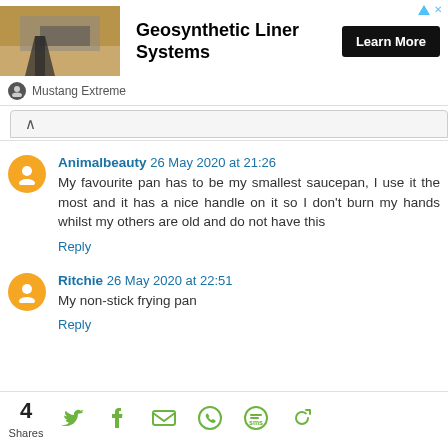[Figure (other): Ad banner for Geosynthetic Liner Systems by Mustang Extreme with photo of liner installation, Learn More button]
Animalbeauty 26 May 2020 at 21:26
My favourite pan has to be my smallest saucepan, I use it the most and it has a nice handle on it so I don't burn my hands whilst my others are old and do not have this
Reply
Ritchie 26 May 2020 at 22:51
My non-stick frying pan
Reply
4 Shares